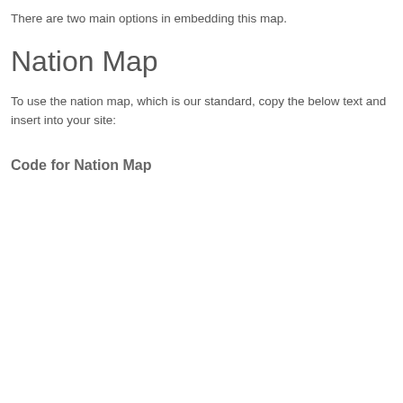There are two main options in embedding this map.
Nation Map
To use the nation map, which is our standard, copy the below text and insert into your site:
Code for Nation Map